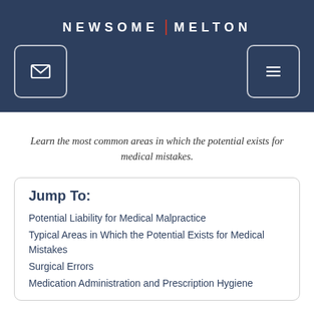NEWSOME | MELTON
Learn the most common areas in which the potential exists for medical mistakes.
Jump To:
Potential Liability for Medical Malpractice
Typical Areas in Which the Potential Exists for Medical Mistakes
Surgical Errors
Medication Administration and Prescription Hygiene